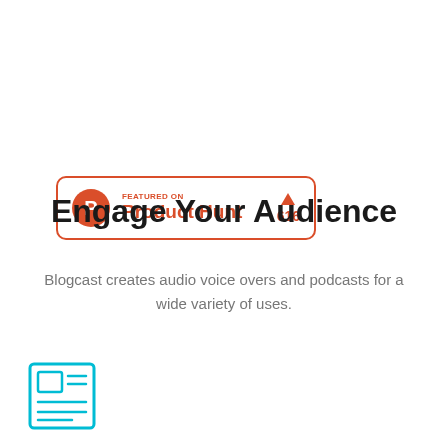[Figure (logo): Product Hunt badge: orange circle with P logo, text 'FEATURED ON Product Hunt' with orange upvote arrow and count 616]
Engage Your Audience
Blogcast creates audio voice overs and podcasts for a wide variety of uses.
[Figure (illustration): Teal/cyan outlined icon of a newspaper or article card with image placeholder and text lines]